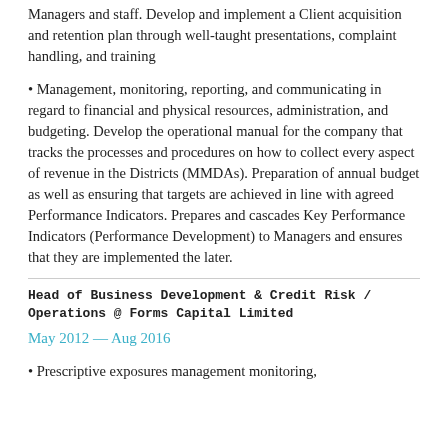Managers and staff. Develop and implement a Client acquisition and retention plan through well-taught presentations, complaint handling, and training
• Management, monitoring, reporting, and communicating in regard to financial and physical resources, administration, and budgeting. Develop the operational manual for the company that tracks the processes and procedures on how to collect every aspect of revenue in the Districts (MMDAs). Preparation of annual budget as well as ensuring that targets are achieved in line with agreed Performance Indicators. Prepares and cascades Key Performance Indicators (Performance Development) to Managers and ensures that they are implemented the later.
Head of Business Development & Credit Risk / Operations @ Forms Capital Limited
May 2012 — Aug 2016
• Prescriptive exposures management monitoring,